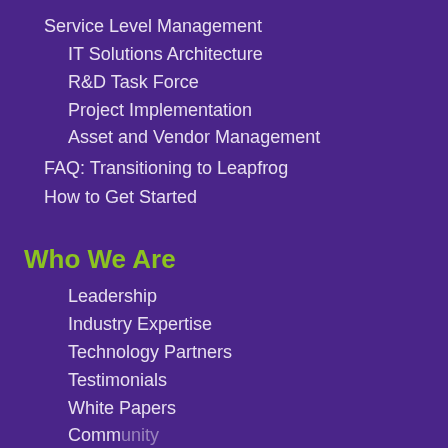Service Level Management
IT Solutions Architecture
R&D Task Force
Project Implementation
Asset and Vendor Management
FAQ: Transitioning to Leapfrog
How to Get Started
Who We Are
Leadership
Industry Expertise
Technology Partners
Testimonials
White Papers
Community